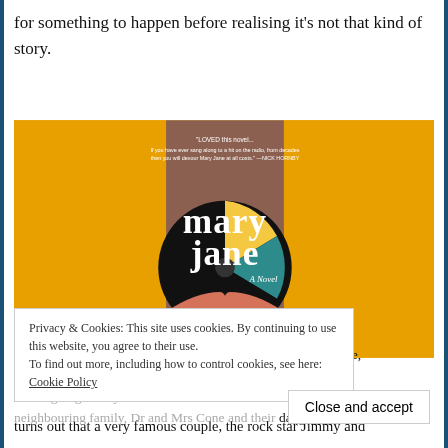for something to happen before realising it's not that kind of story.
[Figure (photo): Book cover of 'Mary Jane, A Novel' by Jessica Anya Blau. Yellow/golden background with a person holding a vinyl record. Text 'LOVED this novel' quote at top, book title 'mary jane' in large white serif font, and author name 'JESSICA ANYA BLAU' at bottom.]
Privacy & Cookies: This site uses cookies. By continuing to use this website, you agree to their use. To find out more, including how to control cookies, see here: Cookie Policy
Narrated by 14 year old Mary Jane, the story is set in Baltimore, 1975. Mary Jane is from a rather prim and proper, patriotic, churchgoing family. She's hired as a 'summer nanny' to a neighbouring family, Dr and Mrs Cone and their daughter Izzy. It
turns out that a very famous couple, the rock star Jimmy and